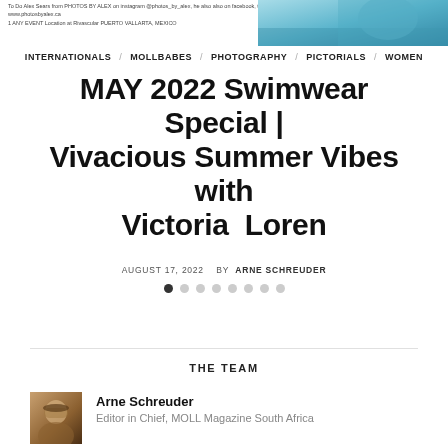To Do Alex Sears from PHOTOS BY ALEX on instagram @photos_by_alex, he also also on facebook, twitter
www.photosbealex.ca
1 ANY EVENT Location at Rivascular PUERTO VALLARTA, MEXICO
[Figure (photo): Photo of a woman in swimwear, cropped, visible in upper right corner]
INTERNATIONALS / MOLLBABES / PHOTOGRAPHY / PICTORIALS / WOMEN
MAY 2022 Swimwear Special | Vivacious Summer Vibes with Victoria Loren
AUGUST 17, 2022   BY ARNE SCHREUDER
[Figure (infographic): Pagination dots — 8 circles, first one filled/dark, rest outlined/light]
THE TEAM
[Figure (photo): Headshot photo of Arne Schreuder, man wearing sunglasses, outdoors]
Arne Schreuder
Editor in Chief, MOLL Magazine South Africa